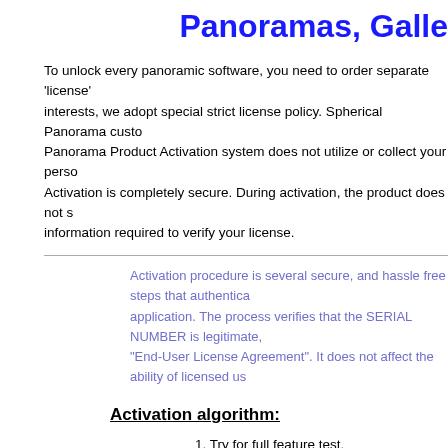Panoramas, Galle
To unlock every panoramic software, you need to order separate 'license' interests, we adopt special strict license policy. Spherical Panorama custo Panorama Product Activation system does not utilize or collect your perso Activation is completely secure. During activation, the product does not s information required to verify your license.
Activation procedure is several secure, and hassle free steps that authentica application. The process verifies that the SERIAL NUMBER is legitimate, "End-User License Agreement". It does not affect the ability of licensed us
Activation algorithm:
1. Try for full feature test.
2. Purchase to get Serial Number (menu of sofware - "Purch
3. Registration - Enter your name (company name), email a
4. Use Full version of SOFTWARE
If you have question, then please directly contact by email: suppo email will be more helpful.